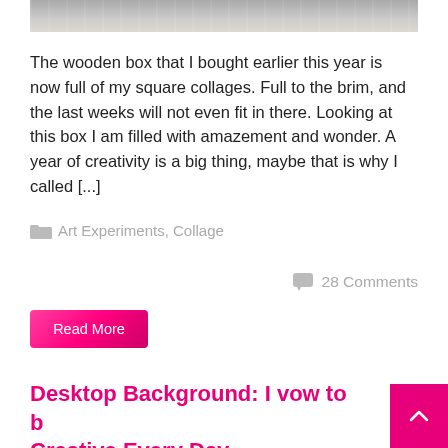[Figure (photo): Partial view of a wooden shelf/box with books or papers, showing gray wooden surface]
The wooden box that I bought earlier this year is now full of my square collages. Full to the brim, and the last weeks will not even fit in there. Looking at this box I am filled with amazement and wonder. A year of creativity is a big thing, maybe that is why I called [...]
Art Experiments, Collage
28 Comments
Read More
Desktop Background: I vow to be Creative Every Day